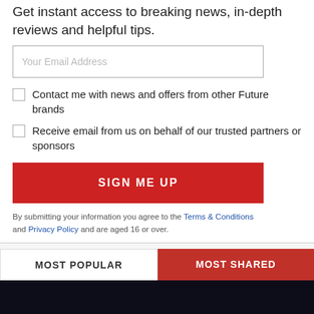Get instant access to breaking news, in-depth reviews and helpful tips.
Your Email Address
Contact me with news and offers from other Future brands
Receive email from us on behalf of our trusted partners or sponsors
SIGN ME UP
By submitting your information you agree to the Terms & Conditions and Privacy Policy and are aged 16 or over.
MOST POPULAR
MOST SHARED